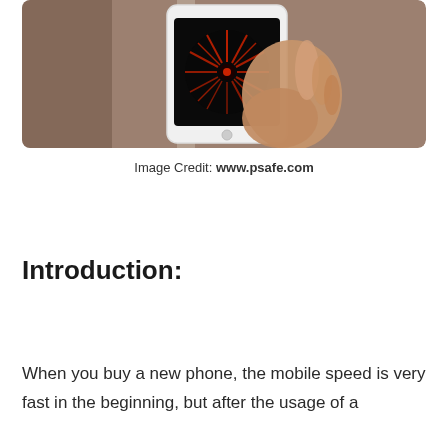[Figure (photo): A hand holding a white smartphone displaying a red speedometer or radial pattern on a black screen, photographed against a blurred road background.]
Image Credit: www.psafe.com
Introduction:
When you buy a new phone, the mobile speed is very fast in the beginning, but after the usage of a